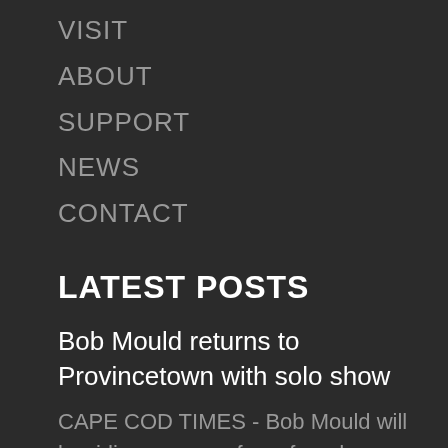VISIT
ABOUT
SUPPORT
NEWS
CONTACT
LATEST POSTS
Bob Mould returns to Provincetown with solo show
CAPE COD TIMES - Bob Mould will be riding a wave of newfound momentum from his home base...